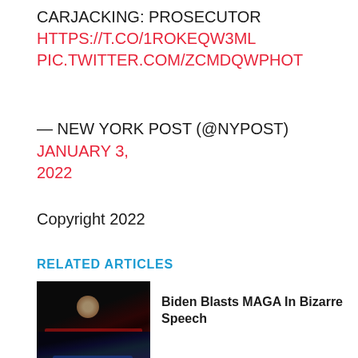CARJACKING: PROSECUTOR HTTPS://T.CO/1ROKEQW3ML PIC.TWITTER.COM/ZCMDQWPHOT
— NEW YORK POST (@NYPOST) JANUARY 3, 2022
Copyright 2022
RELATED ARTICLES
[Figure (photo): Dark image with reddish horizontal bar, thumbnail for Biden article]
Biden Blasts MAGA In Bizarre Speech
[Figure (photo): Dark blue thumbnail image for second related article]